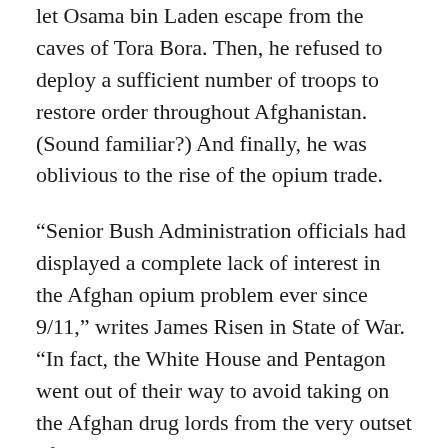let Osama bin Laden escape from the caves of Tora Bora. Then, he refused to deploy a sufficient number of troops to restore order throughout Afghanistan. (Sound familiar?) And finally, he was oblivious to the rise of the opium trade.
“Senior Bush Administration officials had displayed a complete lack of interest in the Afghan opium problem ever since 9/11,” writes James Risen in State of War. “In fact, the White House and Pentagon went out of their way to avoid taking on the Afghan drug lords from the very outset of U.S. military operations in Afghanistan.”
They refused to bomb drug labs. When they stumbled on opium crops and heroin production,